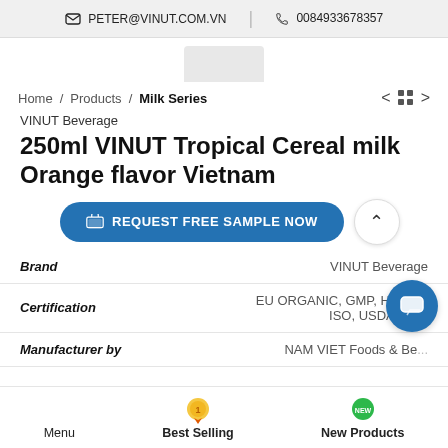PETER@VINUT.COM.VN | 0084933678357
Home / Products / Milk Series
VINUT Beverage
250ml VINUT Tropical Cereal milk Orange flavor Vietnam
REQUEST FREE SAMPLE NOW
| Field | Value |
| --- | --- |
| Brand | VINUT Beverage |
| Certification | EU ORGANIC, GMP, HACCP, ISO, USDA OR... |
| Manufacturer by | NAM VIET Foods & Be... |
Menu | Best Selling | New Products